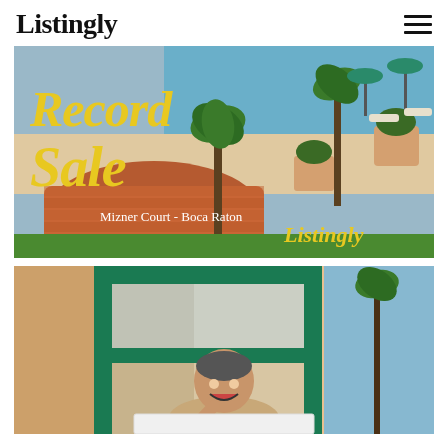Listingly
[Figure (photo): Aerial view of Mizner Court pool and courtyard area in Boca Raton with text overlay reading 'Record Sale' in yellow serif font, 'Mizner Court - Boca Raton' in white, and 'Listingly' in yellow.]
[Figure (photo): Man standing in a green-framed doorway or window, smiling and pointing downward, with palm trees visible through glass in background.]